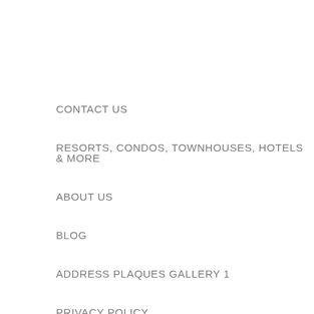CONTACT US
RESORTS, CONDOS, TOWNHOUSES, HOTELS & MORE
ABOUT US
BLOG
ADDRESS PLAQUES GALLERY 1
PRIVACY POLICY
FAQ'S
GIFT CERTIFICATES